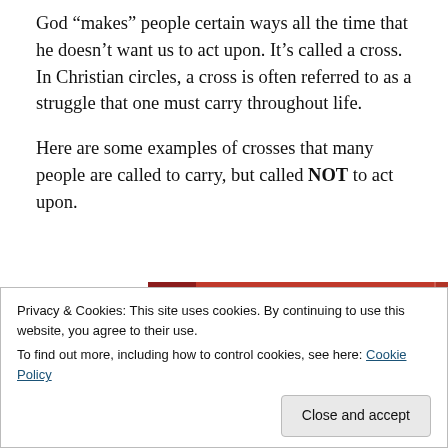God “makes” people certain ways all the time that he doesn’t want us to act upon. It’s called a cross. In Christian circles, a cross is often referred to as a struggle that one must carry throughout life.
Here are some examples of crosses that many people are called to carry, but called NOT to act upon.
[Figure (other): Red advertisement banner with white italic text reading 'the web – ours, and everyone else’s.' with a dark 'Start reading' button below]
Privacy & Cookies: This site uses cookies. By continuing to use this website, you agree to their use.
To find out more, including how to control cookies, see here: Cookie Policy
Close and accept